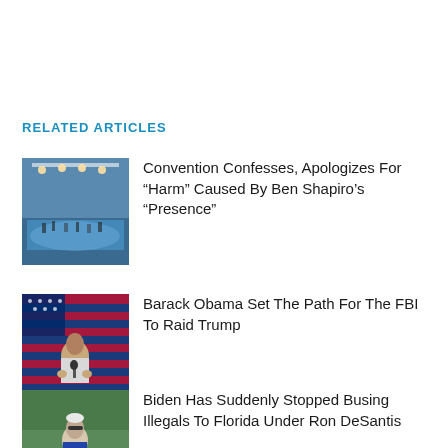RELATED ARTICLES
[Figure (photo): Indoor arena or convention center with blue floor and crowd of people under bright lights]
Convention Confesses, Apologizes For “Harm” Caused By Ben Shapiro’s “Presence”
[Figure (photo): Barack Obama speaking at a podium in front of an American flag]
Barack Obama Set The Path For The FBI To Raid Trump
[Figure (photo): Joe Biden at a campaign rally with supporters, Biden sign visible]
Biden Has Suddenly Stopped Busing Illegals To Florida Under Ron DeSantis